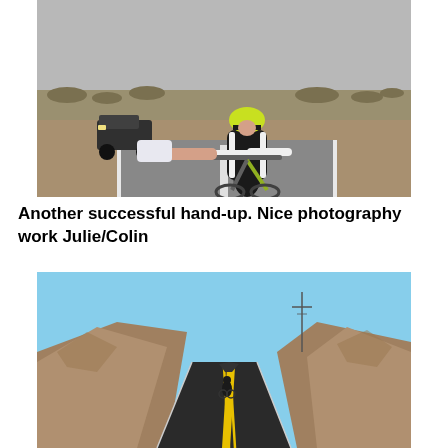[Figure (photo): A cyclist in black and white racing kit and yellow helmet leaning forward on a road bike on a desert highway, receiving a hand-up. A dark SUV is visible in the background on the road. Desert scrubland surrounds the road.]
Another successful hand-up.  Nice photography work Julie/Colin
[Figure (photo): A lone cyclist riding on a winding desert road flanked by rocky brown hills under a clear blue sky. The road has yellow center lines. The cyclist appears small in the middle distance.]